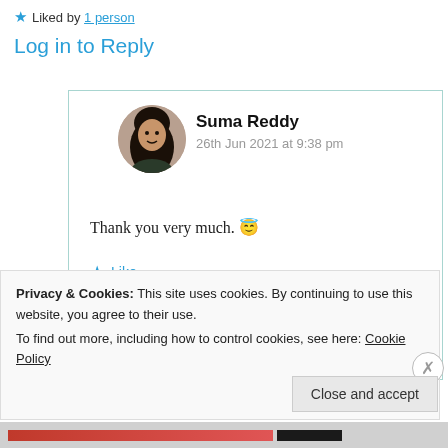★ Liked by 1 person
Log in to Reply
[Figure (photo): Circular avatar photo of Suma Reddy]
Suma Reddy
26th Jun 2021 at 9:38 pm
Thank you very much. 😇
★ Like
Privacy & Cookies: This site uses cookies. By continuing to use this website, you agree to their use.
To find out more, including how to control cookies, see here: Cookie Policy
Close and accept